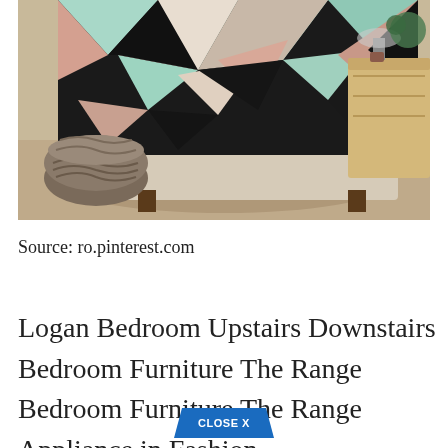[Figure (photo): A bedroom scene showing a bed with a geometric patterned duvet in black, mint green, white and pink triangles. A grey knitted pouf sits on the floor to the left. A wooden bedside table with a lamp is visible to the right. Light wood flooring with a rug underneath.]
Source: ro.pinterest.com
Logan Bedroom Upstairs Downstairs Bedroom Furniture The Range Bedroom Furniture The Range Appliance in Fashion